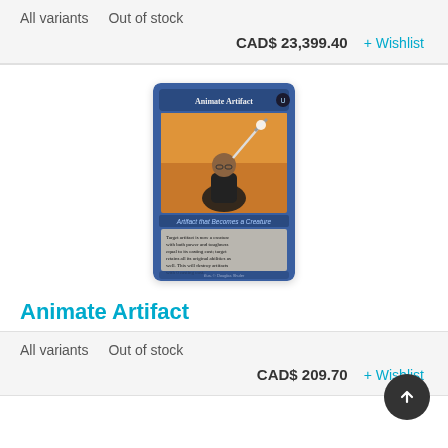All variants    Out of stock
CAD$ 23,399.40   + Wishlist
[Figure (illustration): Magic: The Gathering card titled 'Animate Artifact' showing a robed figure holding a sword aloft, with a blue border and card text describing artifact animation rules.]
Animate Artifact
All variants    Out of stock
CAD$ 209.70   + Wishlist